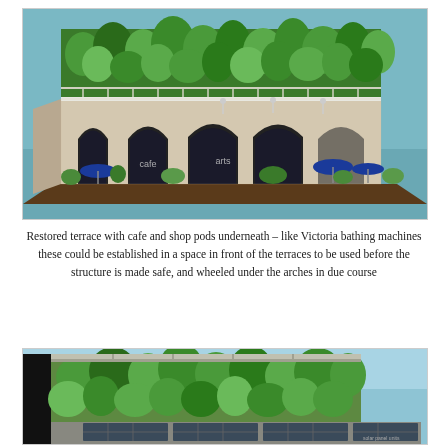[Figure (illustration): 3D architectural rendering of a restored Victorian terrace with arched facade covered in green vegetation on top. Below the arches are cafe and shop pod spaces with blue umbrellas in front. The structure sits on a raised platform with a dark base, set against a teal/blue sky background.]
Restored terrace with cafe and shop pods underneath – like Victoria bathing machines these could be established in a space in front of the terraces to be used before the structure is made safe, and wheeled under the arches in due course
[Figure (illustration): 3D architectural rendering showing a close-up view of the green living wall/vegetation facade of the restored terrace structure, with solar panels visible at the bottom right on a terrace/roof level. Blue sky background.]